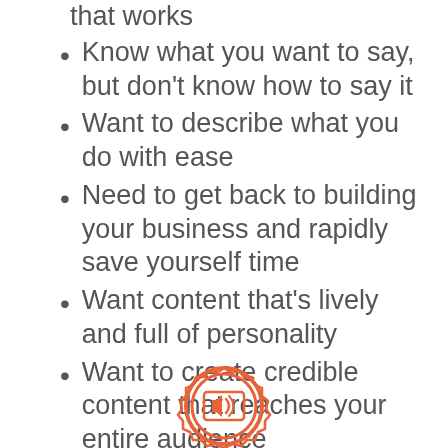that works
Know what you want to say, but don't know how to say it
Want to describe what you do with ease
Need to get back to building your business and rapidly save yourself time
Want content that's lively and full of personality
Want to create credible content that reaches your entire audience
[Figure (logo): Orange badge/seal icon with a megaphone/marketing symbol inside]